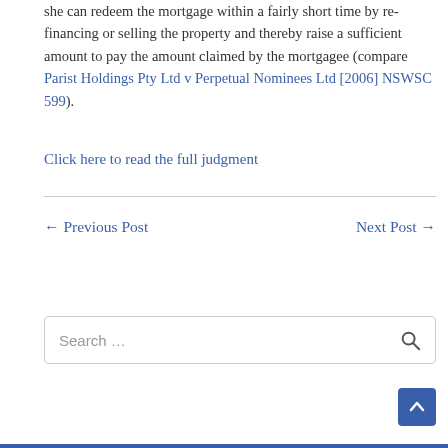she can redeem the mortgage within a fairly short time by re-financing or selling the property and thereby raise a sufficient amount to pay the amount claimed by the mortgagee (compare Parist Holdings Pty Ltd v Perpetual Nominees Ltd [2006] NSWSC 599).
Click here to read the full judgment
← Previous Post
Next Post →